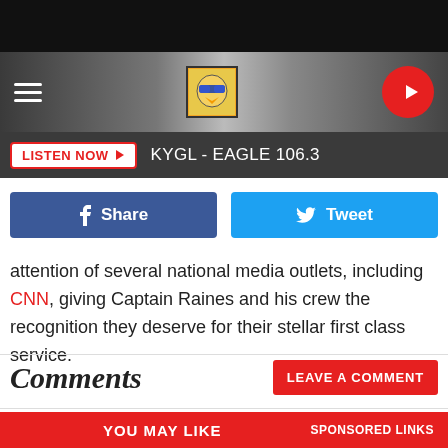KYGL - EAGLE 106.3
LISTEN NOW
attention of several national media outlets, including CNN, giving Captain Raines and his crew the recognition they deserve for their stellar first class service.
Comments
LEAVE A COMMENT
YOU MAY LIKE
SPONSORED LINKS